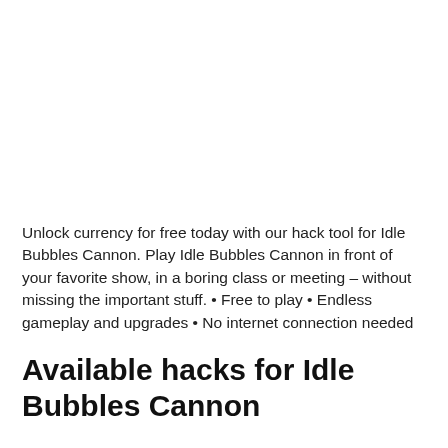Unlock currency for free today with our hack tool for Idle Bubbles Cannon. Play Idle Bubbles Cannon in front of your favorite show, in a boring class or meeting – without missing the important stuff. • Free to play • Endless gameplay and upgrades • No internet connection needed
Available hacks for Idle Bubbles Cannon